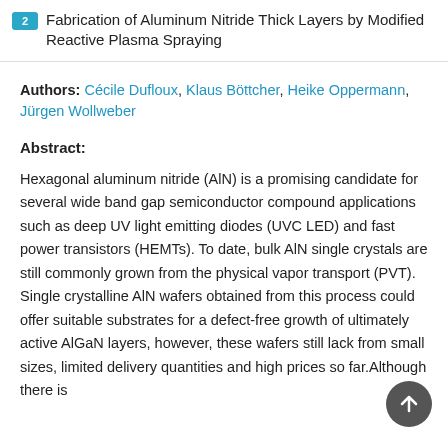2 Fabrication of Aluminum Nitride Thick Layers by Modified Reactive Plasma Spraying
Authors: Cécile Dufloux, Klaus Böttcher, Heike Oppermann, Jürgen Wollweber
Abstract:
Hexagonal aluminum nitride (AlN) is a promising candidate for several wide band gap semiconductor compound applications such as deep UV light emitting diodes (UVC LED) and fast power transistors (HEMTs). To date, bulk AlN single crystals are still commonly grown from the physical vapor transport (PVT). Single crystalline AlN wafers obtained from this process could offer suitable substrates for a defect-free growth of ultimately active AlGaN layers, however, these wafers still lack from small sizes, limited delivery quantities and high prices so far.Although there is